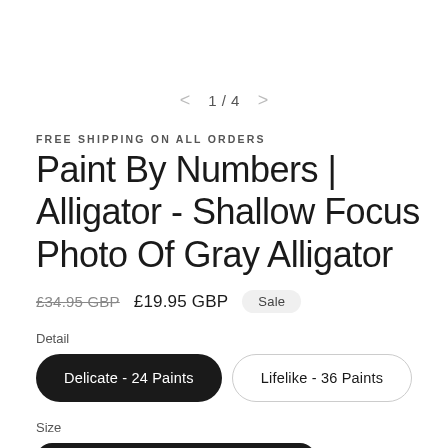< 1 / 4 >
FREE SHIPPING ON ALL ORDERS
Paint By Numbers | Alligator - Shallow Focus Photo Of Gray Alligator
£34.95 GBP £19.95 GBP Sale
Detail
Delicate - 24 Paints
Lifelike - 36 Paints
Size